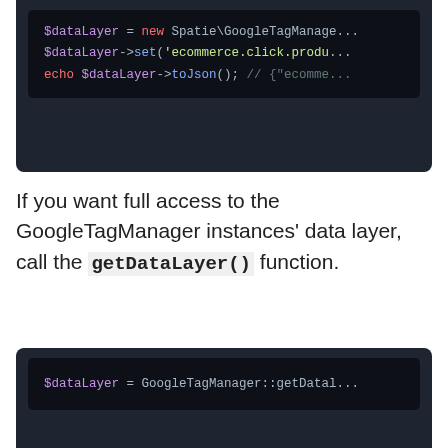[Figure (screenshot): Dark-themed code block showing PHP code: $dataLayer = new Spatie\GoogleTagManage... / $dataLayer->set('ecommerce.click.produ... / echo $dataLayer->toJson(); // {"ecomme...]
If you want full access to the GoogleTagManager instances' data layer, call the `getDataLayer()` function.
[Figure (screenshot): Dark-themed code block showing PHP code: $dataLayer = GoogleTagManager::getDatal...]
Macroable
Adding tags to pages can become a repetitive process. Since this package isn't supposed to be opinionated on what your